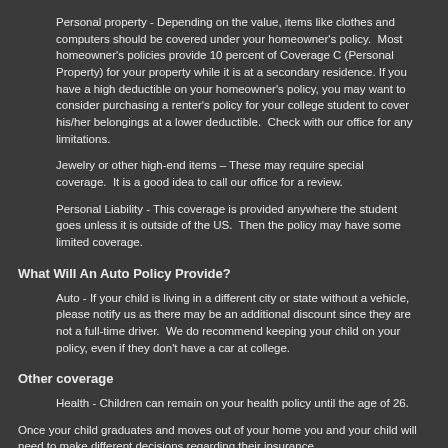Personal property - Depending on the value, items like clothes and computers should be covered under your homeowner's policy.  Most homeowner's policies provide 10 percent of Coverage C (Personal Property) for your property while it is at a secondary residence. If you have a high deductible on your homeowner's policy, you may want to consider purchasing a renter's policy for your college student to cover his/her belongings at a lower deductible.  Check with our office for any limitations.
Jewelry or other high-end items – These may require special coverage.  It is a good idea to call our office for a review.
Personal Liability - This coverage is provided anywhere the student goes unless it is outside of the US.  Then the policy may have some limited coverage.
What Will An Auto Policy Provide?
Auto - If your child is living in a different city or state without a vehicle, please notify us as there may be an additional discount since they are not a full-time driver.  We do recommend keeping your child on your policy, even if they don't have a car at college.
Other coverage
Health - Children can remain on your health policy until the age of 26.
Once your child graduates and moves out of your home you and your child will need to make different decisions regarding their insurance